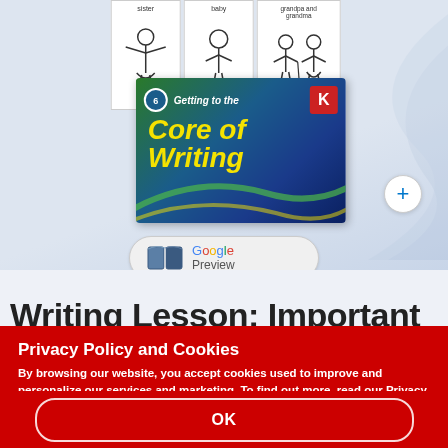[Figure (screenshot): Screenshot of an educational website showing flash cards with labels 'sister', 'baby', 'grandpa and grandma' and a book cover titled 'Getting to the Core of Writing' for Kindergarten with a Google Preview button below]
Writing Lesson: Important
Privacy Policy and Cookies
By browsing our website, you accept cookies used to improve and personalize our services and marketing. To find out more, read our Privacy Policy page.
OK